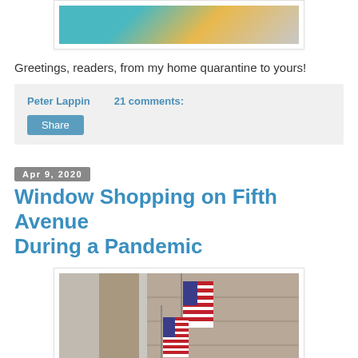[Figure (photo): Partial top image showing illustrated/cartoon characters on a teal background, cropped at top]
Greetings, readers, from my home quarantine to yours!
Peter Lappin   21 comments:
Share
Apr 9, 2020
Window Shopping on Fifth Avenue During a Pandemic
[Figure (photo): Street-level photo looking up at a building on Fifth Avenue with American flags hanging from the facade]